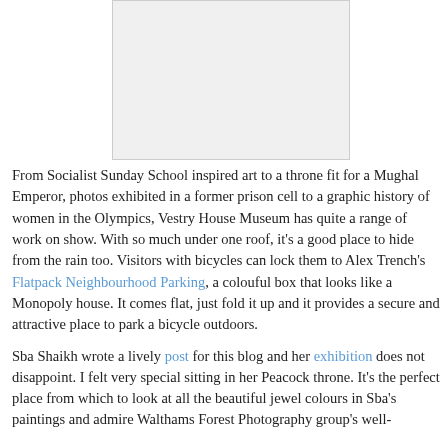[Figure (photo): Placeholder image area, light gray rectangle]
From Socialist Sunday School inspired art to a throne fit for a Mughal Emperor, photos exhibited in a former prison cell to a graphic history of women in the Olympics, Vestry House Museum has quite a range of work on show. With so much under one roof, it's a good place to hide from the rain too. Visitors with bicycles can lock them to Alex Trench's Flatpack Neighbourhood Parking, a colouful box that looks like a Monopoly house. It comes flat, just fold it up and it provides a secure and attractive place to park a bicycle outdoors.
Sba Shaikh wrote a lively post for this blog and her exhibition does not disappoint. I felt very special sitting in her Peacock throne. It's the perfect place from which to look at all the beautiful jewel colours in Sba's paintings and admire Walthams Forest Photography group's well-